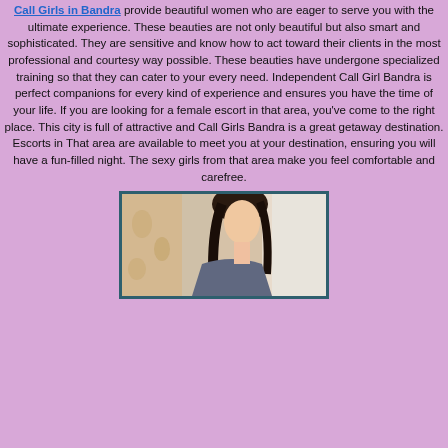Call Girls in Bandra provide beautiful women who are eager to serve you with the ultimate experience. These beauties are not only beautiful but also smart and sophisticated. They are sensitive and know how to act toward their clients in the most professional and courtesy way possible. These beauties have undergone specialized training so that they can cater to your every need. Independent Call Girl Bandra is perfect companions for every kind of experience and ensures you have the time of your life. If you are looking for a female escort in that area, you've come to the right place. This city is full of attractive and Call Girls Bandra is a great getaway destination. Escorts in That area are available to meet you at your destination, ensuring you will have a fun-filled night. The sexy girls from that area make you feel comfortable and carefree.
[Figure (photo): A woman with dark hair in a decorative setting, partial view showing face and upper body]